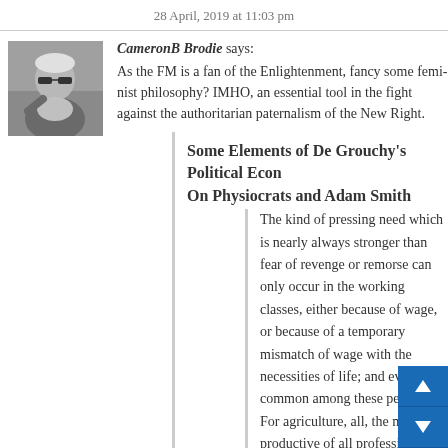28 April, 2019 at 11:03 pm
CameronB Brodie says:
As the FM is a fan of the Enlightenment, fancy some feminist philosophy? IMHO, an essential tool in the fight against the authoritarian paternalism of the New Right.
Some Elements of De Grouchy's Political Economy: On Physiocrats and Adam Smith
The kind of pressing need which is nearly always stronger than fear of revenge or remorse can only occur in the working classes, either because of wage, or because of a temporary mismatch of wage with the necessities of life; and even is common among these people. For agriculture, all, the most productive of all professions for individuals, while for states, it is the unique real and lasting wealth.
But now we have conclusive evidence that wages or insufficient wages were d entirely by prohibitive laws hamper